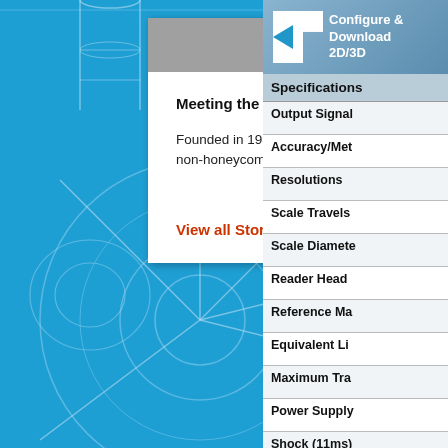[Figure (illustration): Blue background with technical engineering diagram of turbine/rotary encoder components shown as white line drawings]
APPLICATION STORY
Meeting the Challanges of Turbine Engine Part Manufacturing
Founded in 1939, Ferrotherm Corporation is a long established supplier of gas turbine honeycomb and non-honeycomb seals and shrouds, both rings and segments. Their singular business is manufactur...
..Full Story
View all Story Items...
[Figure (screenshot): Configure & Download 2D/3D button with arrow]
| Specifications |
| --- |
| Output Signal |
| Accuracy/Met |
| Resolutions |
| Scale Travels |
| Scale Diamete |
| Reader Head |
| Reference Ma |
| Equivalent Li |
| Maximum Tra |
| Power Supply |
| Shock (11ms) |
| Vibration (55- |
| Sample Perio |
| Environmenta |
| Operating Ter |
| Coefficient of |
| Scale Materia |
| Overall Scale |
| Standard Cab |